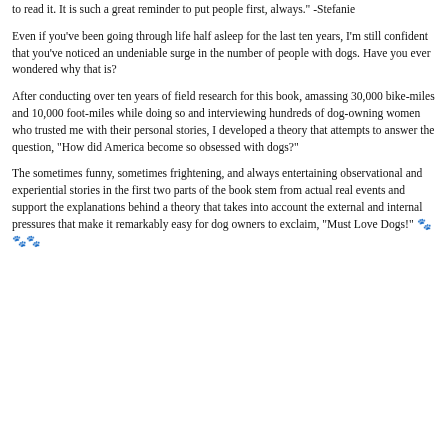to read it. It is such a great reminder to put people first, always." -Stefanie
Even if you've been going through life half asleep for the last ten years, I'm still confident that you've noticed an undeniable surge in the number of people with dogs. Have you ever wondered why that is?
After conducting over ten years of field research for this book, amassing 30,000 bike-miles and 10,000 foot-miles while doing so and interviewing hundreds of dog-owning women who trusted me with their personal stories, I developed a theory that attempts to answer the question, "How did America become so obsessed with dogs?"
The sometimes funny, sometimes frightening, and always entertaining observational and experiential stories in the first two parts of the book stem from actual real events and support the explanations behind a theory that takes into account the external and internal pressures that make it remarkably easy for dog owners to exclaim, "Must Love Dogs!" 🐾🐾🐾